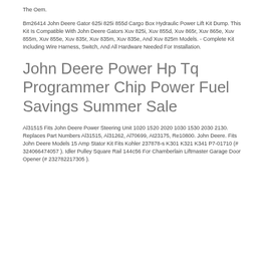The Oem.
Bm26414 John Deere Gator 625i 825i 855d Cargo Box Hydraulic Power Lift Kit Dump. This Kit Is Compatible With John Deere Gators Xuv 825i, Xuv 855d, Xuv 865r, Xuv 865e, Xuv 855m, Xuv 855e, Xuv 835r, Xuv 835m, Xuv 835e, And Xuv 825m Models. - Complete Kit Including Wire Harness, Switch, And All Hardware Needed For Installation.
John Deere Power Hp Tq Programmer Chip Power Fuel Savings Summer Sale
Al31515 Fits John Deere Power Steering Unit 1020 1520 2020 1030 1530 2030 2130. Replaces Part Numbers Al31515, Al31262, Al70699, At23175, Re10800. John Deere. Fits John Deere Models 15 Amp Stator Kit Fits Kohler 237878-s K301 K321 K341 P7-01710 (# 324066474057 ). Idler Pulley Square Rail 144c56 For Chamberlain Liftmaster Garage Door Opener (# 232782217305 ).